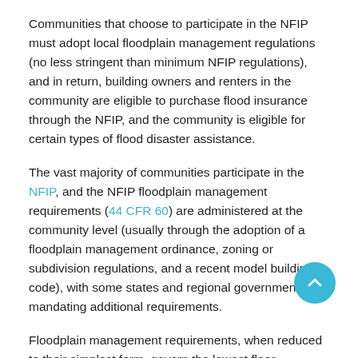Communities that choose to participate in the NFIP must adopt local floodplain management regulations (no less stringent than minimum NFIP regulations), and in return, building owners and renters in the community are eligible to purchase flood insurance through the NFIP, and the community is eligible for certain types of flood disaster assistance.
The vast majority of communities participate in the NFIP, and the NFIP floodplain management requirements (44 CFR 60) are administered at the community level (usually through the adoption of a floodplain management ordinance, zoning or subdivision regulations, and a recent model building code), with some states and regional governments mandating additional requirements.
Floodplain management requirements, when reduced to their simplest form, govern the lowest floor (including basement) elevation and foundation of a building, the materials and methods used to construct lower portions of